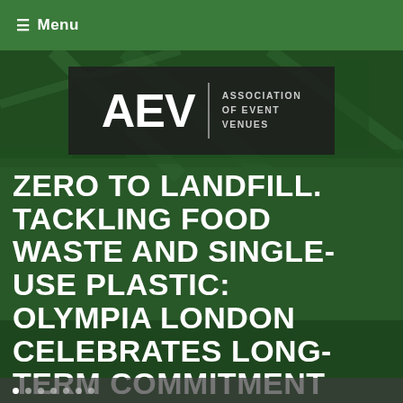≡ Menu
[Figure (photo): AEV Association of Event Venues logo on dark background, overlaid on a green-tinted interior photo of a venue with structural elements visible]
ZERO TO LANDFILL. TACKLING FOOD WASTE AND SINGLE-USE PLASTIC: OLYMPIA LONDON CELEBRATES LONG-TERM COMMITMENT TO SUSTAINABILITY.